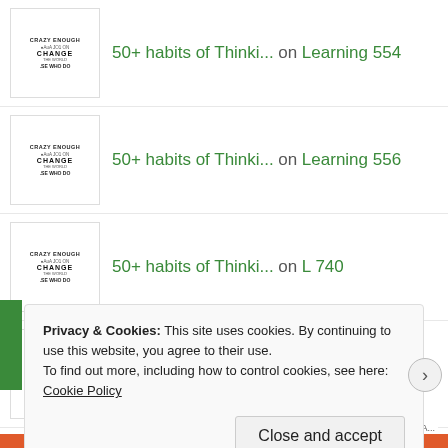50+ habits of Thinki... on Learning 554
50+ habits of Thinki... on Learning 556
50+ habits of Thinki... on L 740
50+ habits of Thinki... on L 782
50+ habits of Thinki... on L 772
Privacy & Cookies: This site uses cookies. By continuing to use this website, you agree to their use.
To find out more, including how to control cookies, see here: Cookie Policy
Close and accept